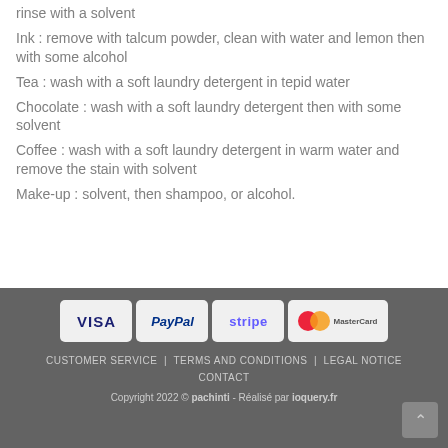rinse with a solvent
Ink : remove with talcum powder, clean with water and lemon then with some alcohol
Tea : wash with a soft laundry detergent in tepid water
Chocolate : wash with a soft laundry detergent then with some solvent
Coffee : wash with a soft laundry detergent in warm water and remove the stain with solvent
Make-up : solvent, then shampoo, or alcohol.
CUSTOMER SERVICE  TERMS AND CONDITIONS  LEGAL NOTICE  CONTACT
Copyright 2022 © pachinti - Réalisé par ioquery.fr